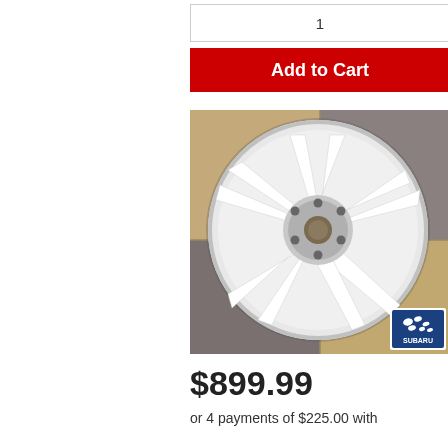1
Add to Cart
[Figure (photo): White multi-spoke alloy wheel (Subaru branded) photographed on cardboard boxes background. The wheel is white with a Y-spoke design and has a Subaru logo badge in the bottom right corner of the image.]
$899.99
or 4 payments of $225.00 with